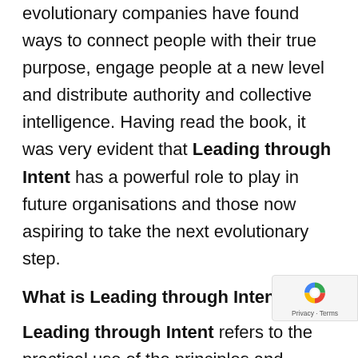evolutionary companies have found ways to connect people with their true purpose, engage people at a new level and distribute authority and collective intelligence. Having read the book, it was very evident that Leading through Intent has a powerful role to play in future organisations and those now aspiring to take the next evolutionary step.
What is Leading through Intent?
Leading through Intent refers to the practical use of the principles and practices of 'mission command'. Mission Command